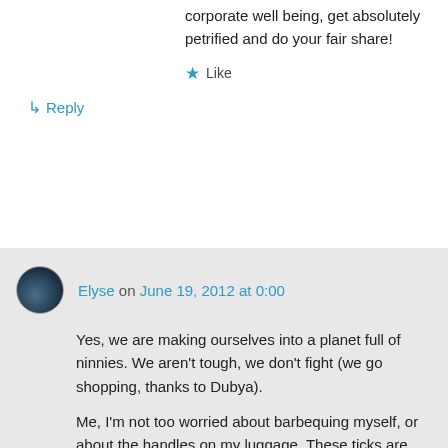For the sake of American economic and corporate well being, get absolutely petrified and do your fair share!
★ Like
↳ Reply
Elyse on June 19, 2012 at 0:00
Yes, we are making ourselves into a planet full of ninnies. We aren't tough, we don't fight (we go shopping, thanks to Dubya).
Me, I'm not too worried about barbequing myself, or about the handles on my luggage. These ticks are nasty, though. (I had you in mind when I wrote the tick